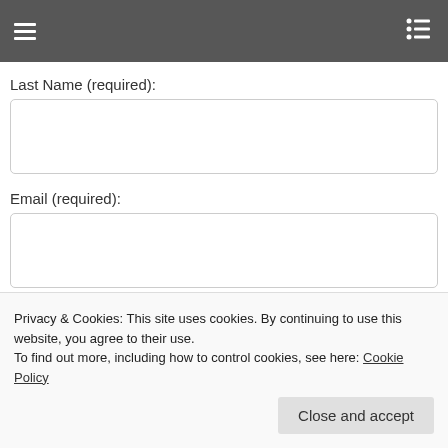Last Name (required):
Email (required):
Phone:
Adults:
Privacy & Cookies: This site uses cookies. By continuing to use this website, you agree to their use.
To find out more, including how to control cookies, see here: Cookie Policy
Close and accept